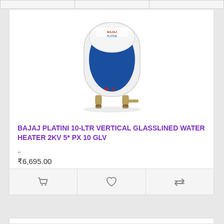[Figure (photo): Bajaj Platini water heater — white and blue vertical tank with two pipe connections at the bottom and Bajaj Platini branding on top]
BAJAJ PLATINI 10-LTR VERTICAL GLASSLINED WATER HEATER 2KV 5* PX 10 GLV
,,
₹6,695.00